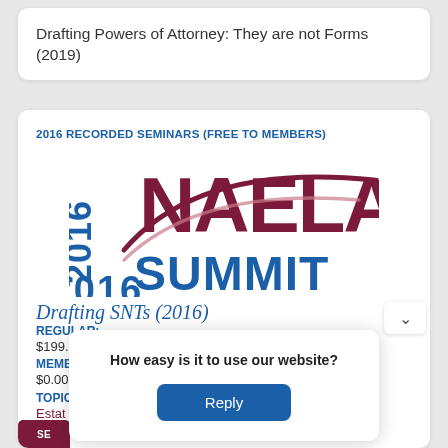Drafting Powers of Attorney: They are not Forms (2019)
2016 RECORDED SEMINARS (FREE TO MEMBERS)
[Figure (logo): 2016 NAELA Summit logo with dark blue '2016' on left side and dark red 'NAELA' text with swoosh above dark blue 'SUMMIT' text]
Drafting SNTs (2016)
REGULAR: $199.00 MEMBER: $0.00
TOPIC Estate
How easy is it to use our website? Reply